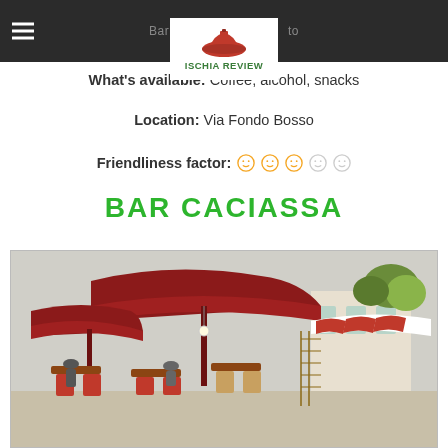Bar Pub ... to
[Figure (logo): Ischia Review logo with red dome icon and green text]
What's available: Coffee, alcohol, snacks
Location: Via Fondo Bosso
Friendliness factor: (5 smiley face icons)
BAR CACIASSA
[Figure (photo): Outdoor bar/cafe seating area with large red umbrellas/canopies, striped chairs, and a white building in the background]